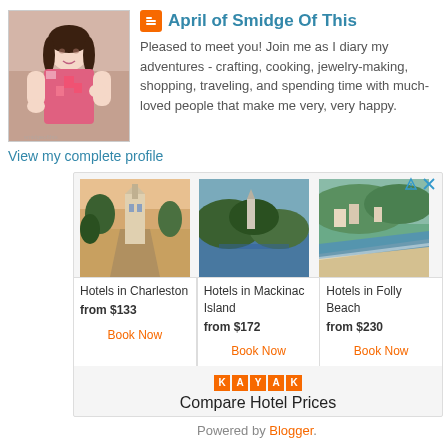April of Smidge Of This
Pleased to meet you! Join me as I diary my adventures - crafting, cooking, jewelry-making, shopping, traveling, and spending time with much-loved people that make me very, very happy.
View my complete profile
[Figure (infographic): Travel hotel advertisement with three destination photos (Charleston, Mackinac Island, Folly Beach) and booking information, powered by KAYAK]